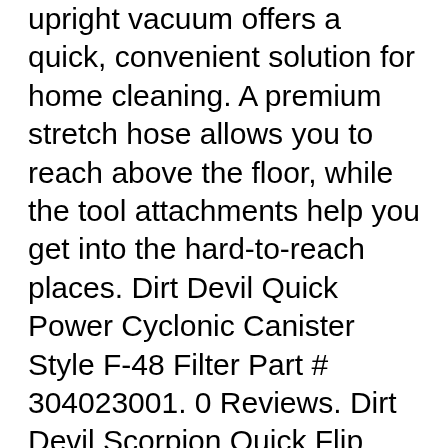upright vacuum offers a quick, convenient solution for home cleaning. A premium stretch hose allows you to reach above the floor, while the tool attachments help you get into the hard-to-reach places. Dirt Devil Quick Power Cyclonic Canister Style F-48 Filter Part # 304023001. 0 Reviews. Dirt Devil Scorpion Quick Flip Corded Bagless Handheld Vacuum, SD20005RED . 314 Reviews.
Download 393 Dirt devil Vacuum Cleaner PDF manuals. User manuals, Dirt devil Vacuum cleaner Operating guides and Service manuals. Quick Start Manual. DC-RB20 . Operating Manual. DC-RB21 . Operating Manual. DD 2620 ULTIMA Power Flip Up Operating Manual